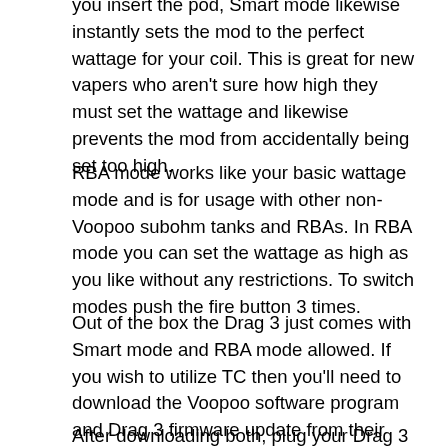you insert the pod, Smart mode likewise instantly sets the mod to the perfect wattage for your coil. This is great for new vapers who aren't sure how high they must set the wattage and likewise prevents the mod from accidentally being set too high.
RBA mode works like your basic wattage mode and is for usage with other non-Voopoo subohm tanks and RBAs. In RBA mode you can set the wattage as high as you like without any restrictions. To switch modes push the fire button 3 times.
Out of the box the Drag 3 just comes with Smart mode and RBA mode allowed. If you wish to utilize TC then you'll need to download the Voopoo software program and Drag 3 firmware update from their assistance page.
After downloading both, plug your Drag 3 into your computer and run the Voopoo configuration program.